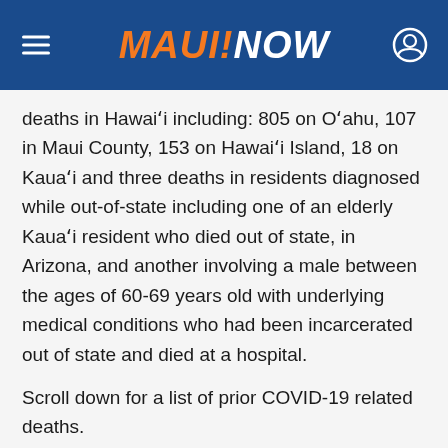MAUI NOW
deaths in Hawaiʻi including: 805 on Oʻahu, 107 in Maui County, 153 on Hawaiʻi Island, 18 on Kauaʻi and three deaths in residents diagnosed while out-of-state including one of an elderly Kauaʻi resident who died out of state, in Arizona, and another involving a male between the ages of 60-69 years old with underlying medical conditions who had been incarcerated out of state and died at a hospital.
Scroll down for a list of prior COVID-19 related deaths.
QUARANTINE UPDATES:
COVID-19 Testing Availability on Maui: